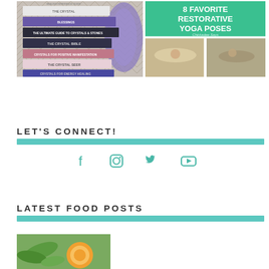[Figure (photo): Stack of crystal healing books including Crystal Bible, Crystal Seer, Ultimate Guide to Crystals and Stones, Crystals for Positive Manifestation, Crystals for Energy Healing, on a patterned background]
[Figure (photo): 8 Favorite Restorative Yoga Poses collage with green title card and photos of yoga poses on wooden floor]
LET'S CONNECT!
[Figure (infographic): Social media icons: Facebook, Instagram, Twitter, YouTube in teal color]
LATEST FOOD POSTS
[Figure (photo): Food post thumbnail showing greens and orange slices]